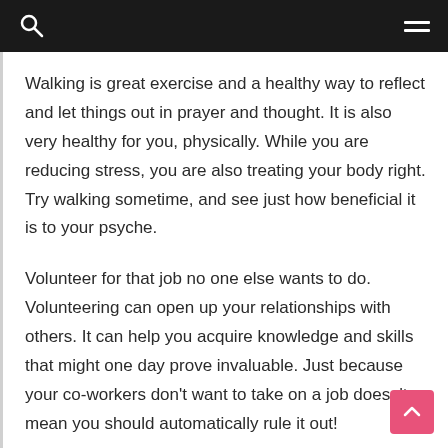Walking is great exercise and a healthy way to reflect and let things out in prayer and thought. It is also very healthy for you, physically. While you are reducing stress, you are also treating your body right. Try walking sometime, and see just how beneficial it is to your psyche.
Volunteer for that job no one else wants to do. Volunteering can open up your relationships with others. It can help you acquire knowledge and skills that might one day prove invaluable. Just because your co-workers don't want to take on a job doesn't mean you should automatically rule it out!